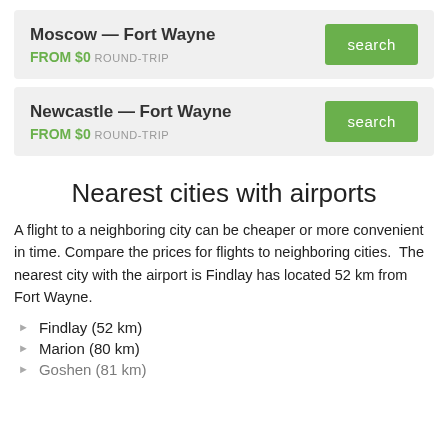Moscow — Fort Wayne
FROM $0 ROUND-TRIP
Newcastle — Fort Wayne
FROM $0 ROUND-TRIP
Nearest cities with airports
A flight to a neighboring city can be cheaper or more convenient in time. Compare the prices for flights to neighboring cities.  The nearest city with the airport is Findlay has located 52 km from Fort Wayne.
Findlay (52 km)
Marion (80 km)
Goshen (81 km)